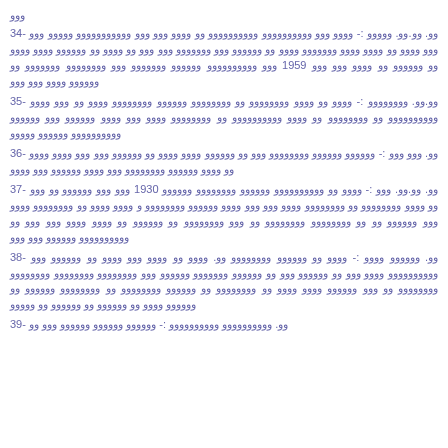ووو
34- وو. وو.وو. ووووو :- وووو ووو وووووووووو وووووووووو وو وووو ووو ووو ووووووووووو ووووو ووو ووو وووو وو وووو وووو ووووووو وووو وو وووووو ووو ووووووو ووو ووو وو وووو وو وووووو وووو وووو وو وووووو وو وووو ووو ووو 1959 ووو وووووووووو وووووو ووووووو ووو وووووووو ووووووو وو وووووو وووو ووو ووو
35- وو.وو. وووووووو :- وووو وو وووو وووووووو وو وووووووو وووووو وووووووو وووو وو ووو وووو وووووووووو وو وووووووو وو وووو وووووووووو وو وووووووو وووو ووو وووو وووووو ووو وووووو وووووووووو وووووو ووووو
36- وو. ووو ووو :- وووووو وووووو وووووووو ووو وو وووووو وووو وووو وو وووووو ووو ووو وووو وووو وو وووو وووووو وووووووو ووو وووو وووووو ووو وووو
37- وو. وو.وو. ووو :- وووو وو وووووووووو وووووو وووووووو وووووو 1930 ووو ووو وووووو وو ووو وو وووو وووووووو وو وووووووو وووو ووو ووو وووو وووووو وووووووو و وووو وووو وو وووووووو وووو ووو وووووو وو وو وووووووو وووووووو وو ووو وووووووو وو وووووو وو وووو وووو ووو ووو وو وووووووووو وووووو ووو ووو
38- وو. وووووو وووو :- وووو وو وووووو وووووووو وو. وووو وو وووو ووو وووو وو وووووو ووو وووووووووو وووو ووو وو وووووو ووو وو وووووو ووووووو وووووو ووو وووووووو وووووووو وووووووو وووووووو وو ووو وووووو وووو وووو وو وووووووو وو وووووو وووووووو وو وووووووو وووووو وو وووووو وووو وو وووووو وو وووووو وو ووووو
39- وو. وووووووووو وووووووووو :- وووووو وووووو وووووو ووو وو